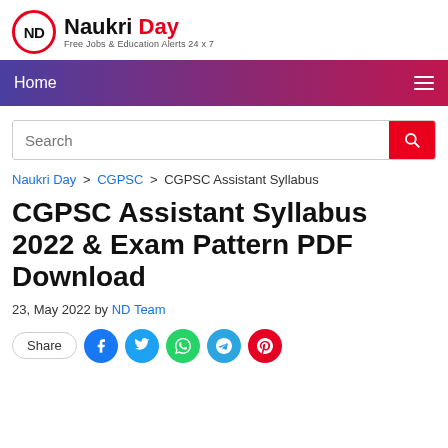[Figure (logo): Naukri Day logo with red circle containing ND initials, site name 'Naukri Day' and tagline 'Free Jobs & Education Alerts 24 x 7']
Home
Search
Naukri Day > CGPSC > CGPSC Assistant Syllabus
CGPSC Assistant Syllabus 2022 & Exam Pattern PDF Download
23, May 2022 by ND Team
Share